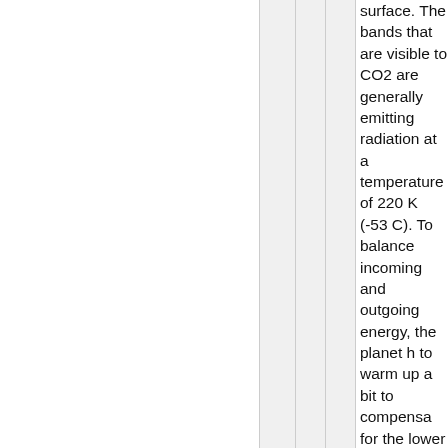surface. The bands that are visible to CO2 are generally emitting radiation at a temperature of 220 K (-53 C). To balance incoming and outgoing energy, the planet has to warm up a bit to compensate for the lower radiation levels in the CO2 bands.

Gasses and vapors have a profound effect on the temperature of a planet. The major role they play is by redistributing heat. Radiation loss to space is proportional to T^4. That means that the hotter a place is, the faster is loses heat to space (by an exponential amount). An atmosphere will move heat from hot places to cold places via heating up the air by convection and conduction, the hotter air is then transferred to a cooler location via wind, which warms the cooler surface (an